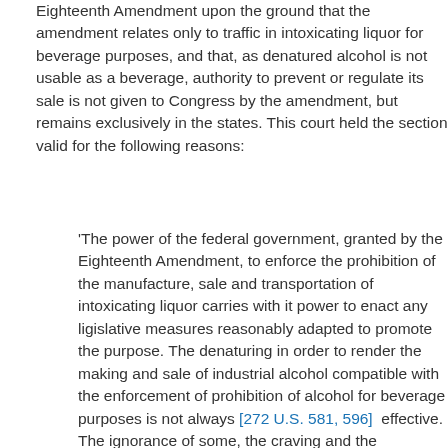Eighteenth Amendment upon the ground that the amendment relates only to traffic in intoxicating liquor for beverage purposes, and that, as denatured alcohol is not usable as a beverage, authority to prevent or regulate its sale is not given to Congress by the amendment, but remains exclusively in the states. This court held the section valid for the following reasons:
'The power of the federal government, granted by the Eighteenth Amendment, to enforce the prohibition of the manufacture, sale and transportation of intoxicating liquor carries with it power to enact any ligislative measures reasonably adapted to promote the purpose. The denaturing in order to render the making and sale of industrial alcohol compatible with the enforcement of prohibition of alcohol for beverage purposes is not always [272 U.S. 581, 596] effective. The ignorance of some, the craving and the hardihood of others, and the fraud and cupidity of still others, often tend to defeat its